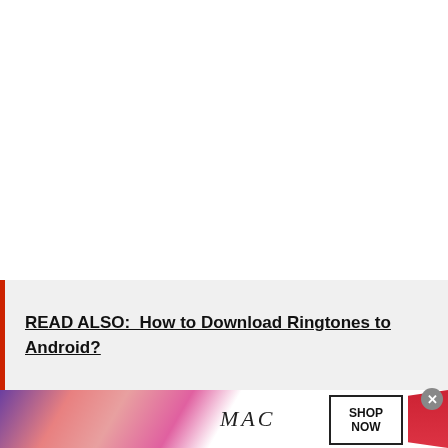READ ALSO:  How to Download Ringtones to Android?
[Figure (photo): MAC cosmetics advertisement banner showing colorful lipsticks on the left side, MAC logo in the center, SHOP NOW button on the right, and a red lipstick on the far right. A close button (x) appears in the upper right corner of the ad.]